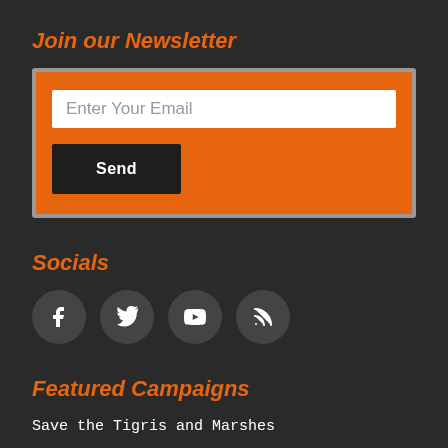Join our Newsletter
[Figure (infographic): Newsletter signup form with orange background, email input field labeled 'Enter Your Email' and a dark Send button]
Socials
[Figure (infographic): Row of four circular dark social media icons: Facebook, Twitter, YouTube, RSS feed]
Featured Campaigns
Save the Tigris and Marshes